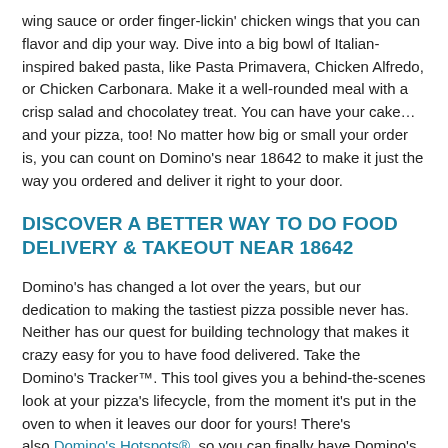wing sauce or order finger-lickin' chicken wings that you can flavor and dip your way. Dive into a big bowl of Italian-inspired baked pasta, like Pasta Primavera, Chicken Alfredo, or Chicken Carbonara. Make it a well-rounded meal with a crisp salad and chocolatey treat. You can have your cake… and your pizza, too! No matter how big or small your order is, you can count on Domino's near 18642 to make it just the way you ordered and deliver it right to your door.
DISCOVER A BETTER WAY TO DO FOOD DELIVERY & TAKEOUT NEAR 18642
Domino's has changed a lot over the years, but our dedication to making the tastiest pizza possible never has. Neither has our quest for building technology that makes it crazy easy for you to have food delivered. Take the Domino's Tracker™. This tool gives you a behind-the-scenes look at your pizza's lifecycle, from the moment it's put in the oven to when it leaves our door for yours! There's also Domino's Hotspots®, so you can finally have Domino's sandwiches, pizza, pasta, chicken, and more delivered almost anywhere in Duryea — beach, pool, or park — you name